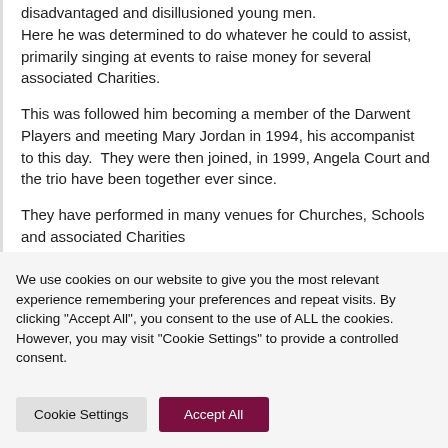disadvantaged and disillusioned young men. Here he was determined to do whatever he could to assist, primarily singing at events to raise money for several associated Charities.
This was followed him becoming a member of the Darwent Players and meeting Mary Jordan in 1994, his accompanist to this day.  They were then joined, in 1999, Angela Court and the trio have been together ever since.
They have performed in many venues for Churches, Schools and associated Charities...
We use cookies on our website to give you the most relevant experience remembering your preferences and repeat visits. By clicking "Accept All", you consent to the use of ALL the cookies. However, you may visit "Cookie Settings" to provide a controlled consent.